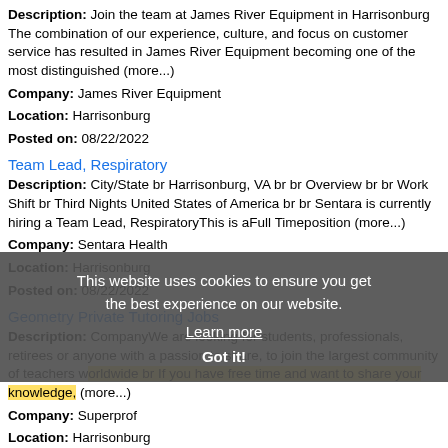Description: Join the team at James River Equipment in Harrisonburg The combination of our experience, culture, and focus on customer service has resulted in James River Equipment becoming one of the most distinguished (more...)
Company: James River Equipment
Location: Harrisonburg
Posted on: 08/22/2022
Team Lead, Respiratory
Description: City/State br Harrisonburg, VA br br Overview br br Work Shift br Third Nights United States of America br br Sentara is currently hiring a Team Lead, RespiratoryThis is aFull Timeposition (more...)
Company: Sentara Health
Location: Harrisonburg
Posted on: 08/22/2022
Geometry Private Tutoring Jobs
Description: CompanyWe are looking for students, professionals, retirees or anyone with a passion to share, to join the largest community of teachers worldwide br If you have free time and want to share your knowledge, (more...)
Company: Superprof
Location: Harrisonburg
This website uses cookies to ensure you get the best experience on our website. Learn more Got it!